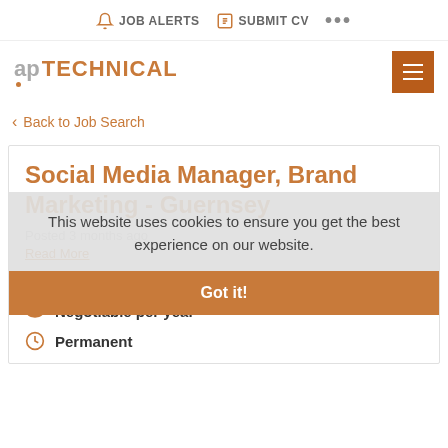JOB ALERTS   SUBMIT CV   ...
ap TECHNICAL
< Back to Job Search
Social Media Manager, Brand Marketing - Guernsey
Posted 3 months ago
Read More
Guernsey
Negotiable per year
Permanent
This website uses cookies to ensure you get the best experience on our website.
Read More
Got it!